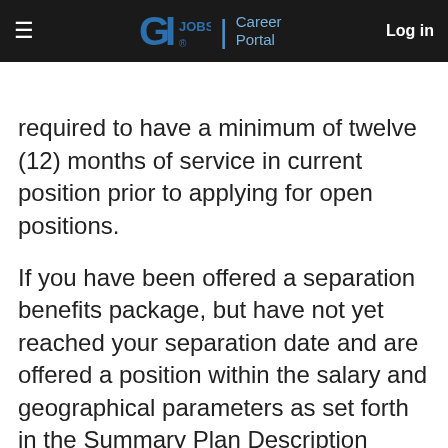GI.JOBS | Career Portal   Log in
required to have a minimum of twelve (12) months of service in current position prior to applying for open positions.
If you have been offered a separation benefits package, but have not yet reached your separation date and are offered a position within the salary and geographical parameters as set forth in the Summary Plan Description (SPD) of your separation package, then you are no longer eligible for your separation benefits package. To discuss in more